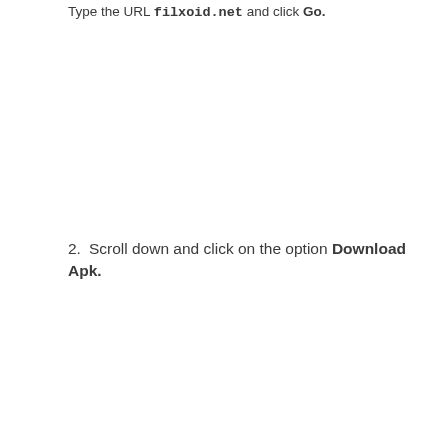Type the URL filxoid.net and click Go.
2. Scroll down and click on the option Download Apk.